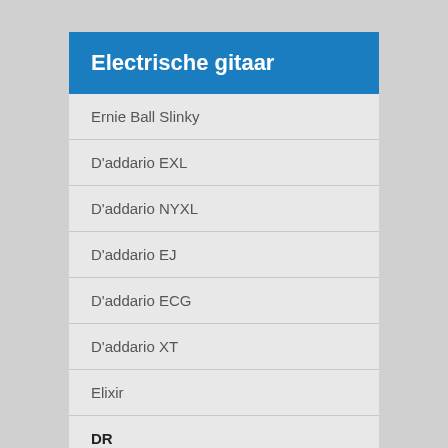Electrische gitaar
Ernie Ball Slinky
D'addario EXL
D'addario NYXL
D'addario EJ
D'addario ECG
D'addario XT
Elixir
DR
Fender